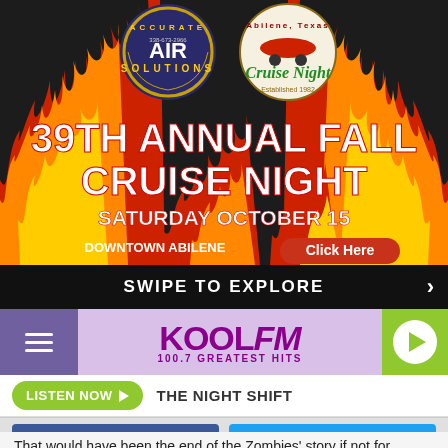[Figure (infographic): 39th Annual Fall Cruise Night advertisement banner with flames background, Accurate Air Solutions logo, Abilene Texas Cruise Night logo, event title, date Saturday October 15, Downtown Abilene location, and a Click Here button]
SWIPE TO EXPLORE
[Figure (logo): KOOL FM 100.7 Greatest Hits radio station logo with hamburger menu icon and play button]
LISTEN NOW THE NIGHT SHIFT
Share  Tweet
That would have been the end of the Zombies' story if not for